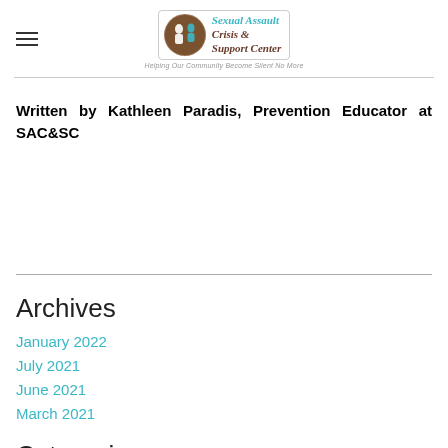Sexual Assault Crisis & Support Center — Helping Our Community Become Silent No More
Written by Kathleen Paradis, Prevention Educator at SAC&SC
Archives
January 2022
July 2021
June 2021
March 2021
Categories